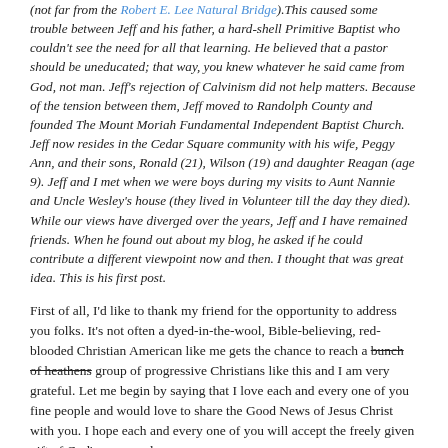(not far from the Robert E. Lee Natural Bridge).This caused some trouble between Jeff and his father, a hard-shell Primitive Baptist who couldn't see the need for all that learning. He believed that a pastor should be uneducated; that way, you knew whatever he said came from God, not man. Jeff's rejection of Calvinism did not help matters. Because of the tension between them, Jeff moved to Randolph County and founded The Mount Moriah Fundamental Independent Baptist Church. Jeff now resides in the Cedar Square community with his wife, Peggy Ann, and their sons, Ronald (21), Wilson (19) and daughter Reagan (age 9). Jeff and I met when we were boys during my visits to Aunt Nannie and Uncle Wesley's house (they lived in Volunteer till the day they died). While our views have diverged over the years, Jeff and I have remained friends. When he found out about my blog, he asked if he could contribute a different viewpoint now and then. I thought that was great idea. This is his first post.
First of all, I'd like to thank my friend for the opportunity to address you folks. It's not often a dyed-in-the-wool, Bible-believing, red-blooded Christian American like me gets the chance to reach a bunch of heathens group of progressive Christians like this and I am very grateful. Let me begin by saying that I love each and every one of you fine people and would love to share the Good News of Jesus Christ with you. I hope each and every one of you will accept the freely given gift of God's grace and